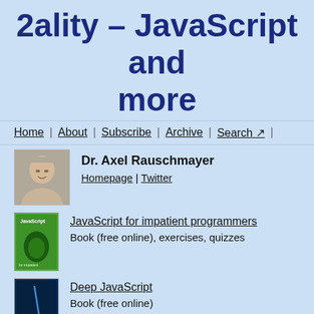2ality – JavaScript and more
Home | About | Subscribe | Archive | Search
Dr. Axel Rauschmayer
Homepage | Twitter
[Figure (photo): Portrait photo of Dr. Axel Rauschmayer, a bald man smiling]
[Figure (photo): Green book cover for JavaScript for impatient programmers]
JavaScript for impatient programmers
Book (free online), exercises, quizzes
[Figure (photo): Dark blue book cover for Deep JavaScript]
Deep JavaScript
Book (free online)
[Figure (photo): Light colored book cover for Tackling TypeScript]
Tackling TypeScript
Book (free online)